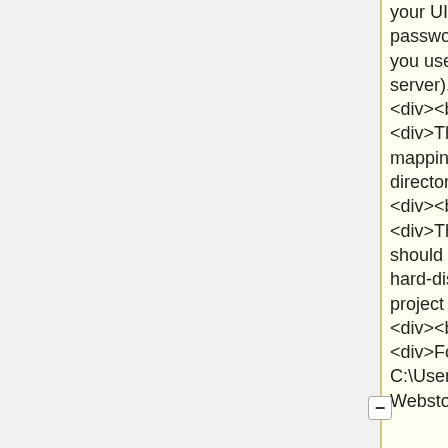your UIO username and password (the same as you use to SSH into the server).&nbsp;</div><div><br/></div><div>The under mappings, add a mapping directory.&nbsp;</div><div><br/></div><div>The local path should be on your local hard-disk, where your project is.&nbsp;</div><div><br/></div><div>For me this is: C:\Users\roland\WebstormProject
your UIO username and password (the same as you use to SSH into the server).&nbsp;</div><div><br/></div><div>The under mappings, add a mapping directory.&nbsp;</div><div><br/></div><div>The local path should be on your local hard-disk, where your project is.&nbsp;</div><div><br/></div><div>For me this is: C:\Users\roland\WebstormProject